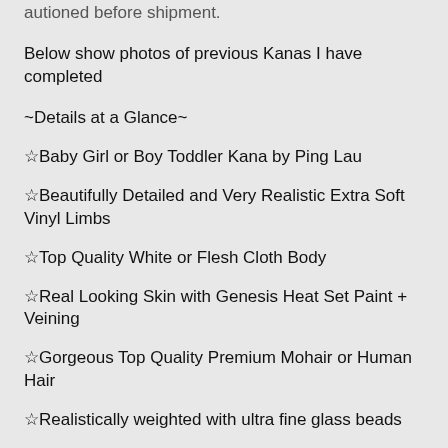autioned before shipment.
Below show photos of previous Kanas I have completed
~Details at a Glance~
☆Baby Girl or Boy Toddler Kana by Ping Lau
☆Beautifully Detailed and Very Realistic Extra Soft Vinyl Limbs
☆Top Quality White or Flesh Cloth Body
☆Real Looking Skin with Genesis Heat Set Paint + Veining
☆Gorgeous Top Quality Premium Mohair or Human Hair
☆Realistically weighted with ultra fine glass beads